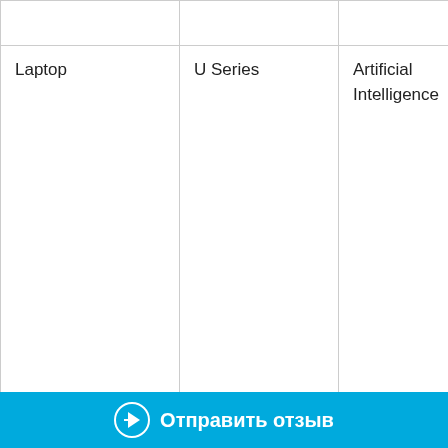|  |  |  |  |
| --- | --- | --- | --- |
| Laptop | U Series | Artificial Intelligence | Up to perfo (INT8 Intel D with a Gene Intel® 1065 Gene |
| Laptop | U Series | Artificial Intelligence | Up to highe infere |
Отправить отзыв